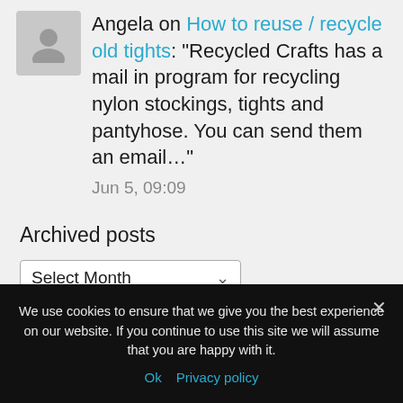Angela on How to reuse / recycle old tights: "Recycled Crafts has a mail in program for recycling nylon stockings, tights and pantyhose. You can send them an email…"
Jun 5, 09:09
Archived posts
Select Month
We use cookies to ensure that we give you the best experience on our website. If you continue to use this site we will assume that you are happy with it.
Ok  Privacy policy